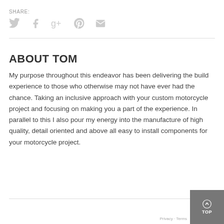SHARE:
[Figure (illustration): Social share icons: Twitter bird, Facebook f, Google+, Pinterest, Email envelope — all in light gray]
ABOUT TOM
My purpose throughout this endeavor has been delivering the build experience to those who otherwise may not have ever had the chance. Taking an inclusive approach with your custom motorcycle project and focusing on making you a part of the experience. In parallel to this I also pour my energy into the manufacture of high quality, detail oriented and above all easy to install components for your motorcycle project.